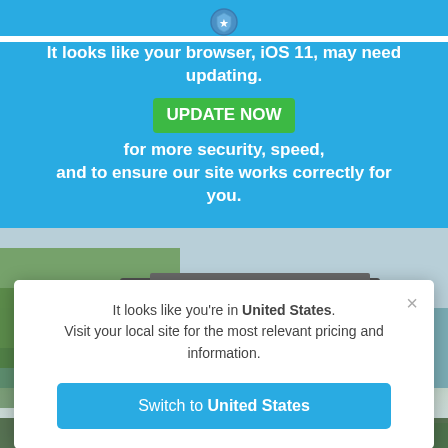[Figure (logo): Shield/badge icon at top of blue banner]
It looks like your browser, iOS 11, may need updating.
UPDATE NOW  for more security, speed, and to ensure our site works correctly for you.
[Figure (photo): Outdoor scenic photo of water, bridge, and rocks]
It looks like you're in United States. Visit your local site for the most relevant pricing and information.
Switch to United States